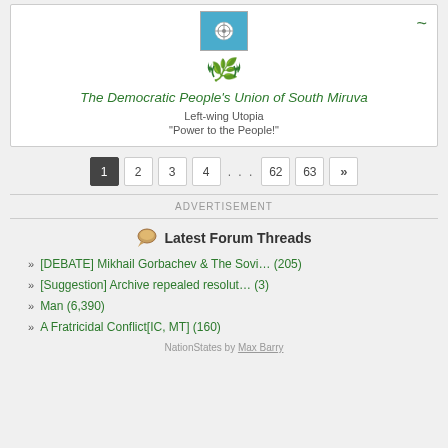10.
[Figure (illustration): Flag of The Democratic People's Union of South Miruva — blue background with white circular emblem]
[Figure (illustration): Laurel wreath icon in green]
The Democratic People's Union of South Miruva
Left-wing Utopia
“Power to the People!”
1 2 3 4 ... 62 63 »
ADVERTISEMENT
Latest Forum Threads
[DEBATE] Mikhail Gorbachev & The Sovi… (205)
[Suggestion] Archive repealed resolut… (3)
Man (6,390)
A Fratricidal Conflict[IC, MT] (160)
NationStates by Max Barry